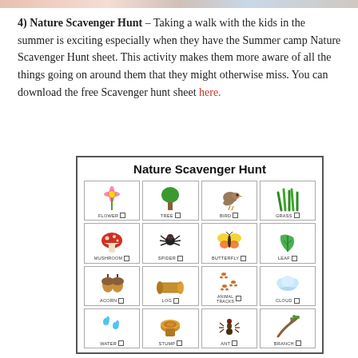[Figure (photo): Top strip showing partial image of kids at summer camp]
4) Nature Scavenger Hunt – Taking a walk with the kids in the summer is exciting especially when they have the Summer camp Nature Scavenger Hunt sheet. This activity makes them more aware of all the things going on around them that they might otherwise miss. You can download the free Scavenger hunt sheet here.
[Figure (infographic): Nature Scavenger Hunt sheet showing a 4x4 grid of nature items: Flower, Tree, Bird, Grass, Mushroom, Spider, Butterfly, Leaf, Acorn, Log, Animal Tracks, Cloud, Water, Stump, Ant, Branch — each with an emoji-style illustration and a checkbox]